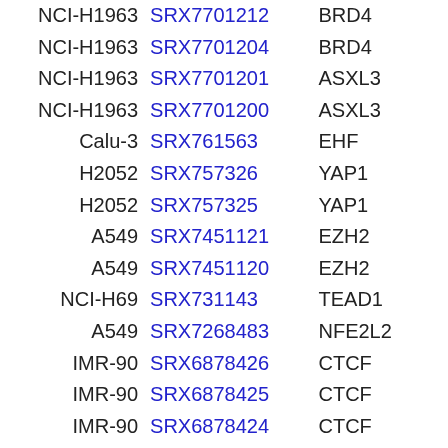| Cell Line | SRX ID | Target |  |
| --- | --- | --- | --- |
| NCI-H1963 | SRX7701212 | BRD4 |  |
| NCI-H1963 | SRX7701204 | BRD4 |  |
| NCI-H1963 | SRX7701201 | ASXL3 |  |
| NCI-H1963 | SRX7701200 | ASXL3 |  |
| Calu-3 | SRX761563 | EHF |  |
| H2052 | SRX757326 | YAP1 |  |
| H2052 | SRX757325 | YAP1 |  |
| A549 | SRX7451121 | EZH2 |  |
| A549 | SRX7451120 | EZH2 |  |
| NCI-H69 | SRX731143 | TEAD1 |  |
| A549 | SRX7268483 | NFE2L2 |  |
| IMR-90 | SRX6878426 | CTCF |  |
| IMR-90 | SRX6878425 | CTCF |  |
| IMR-90 | SRX6878424 | CTCF |  |
| IMR-90 | SRX6878423 | CTCF |  |